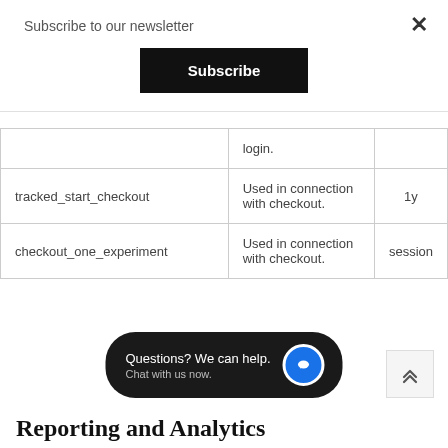Subscribe to our newsletter
Subscribe
×
|  |  |  |
| --- | --- | --- |
|  | login. |  |
| tracked_start_checkout | Used in connection with checkout. | 1y |
| checkout_one_experiment | Used in connection with checkout. | session |
Questions? We can help. Chat with us now.
Reporting and Analytics